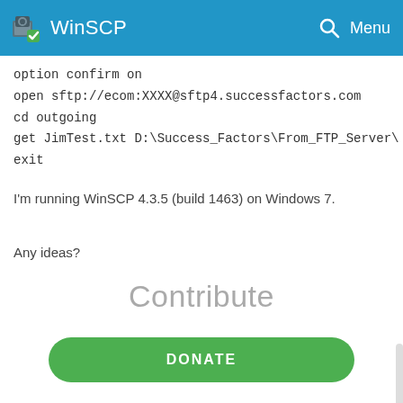WinSCP
option confirm on
open sftp://ecom:XXXX@sftp4.successfactors.com
cd outgoing
get JimTest.txt D:\Success_Factors\From_FTP_Server\
exit
I'm running WinSCP 4.3.5 (build 1463) on Windows 7.
Any ideas?
Contribute
DONATE